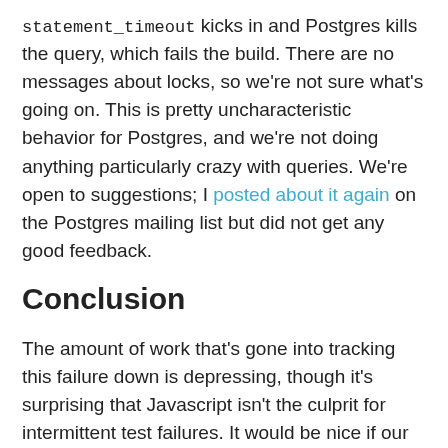statement_timeout kicks in and Postgres kills the query, which fails the build. There are no messages about locks, so we're not sure what's going on. This is pretty uncharacteristic behavior for Postgres, and we're not doing anything particularly crazy with queries. We're open to suggestions; I posted about it again on the Postgres mailing list but did not get any good feedback.
Conclusion
The amount of work that's gone into tracking this failure down is depressing, though it's surprising that Javascript isn't the culprit for intermittent test failures. It would be nice if our CI provider had a way to auto-enable SSH on failed builds, enabled Postgres logging by default, or disabled autovacuum by default. I'd also recommend if you're adding foreign key constraints to make them